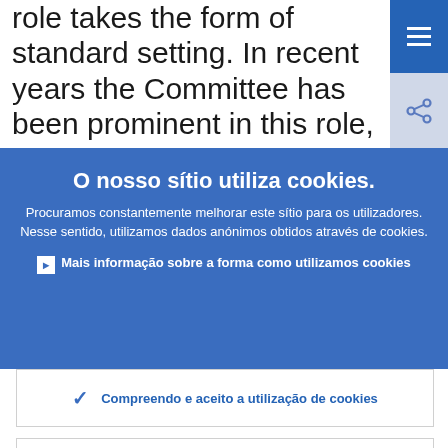role takes the form of standard setting. In recent years the Committee has been prominent in this role, particularly through the publication of the "Core principles for
O nosso sítio utiliza cookies.
Procuramos constantemente melhorar este sítio para os utilizadores. Nesse sentido, utilizamos dados anónimos obtidos através de cookies.
Mais informação sobre a forma como utilizamos cookies
Compreendo e aceito a utilização de cookies
Não aceito a utilização de cookies